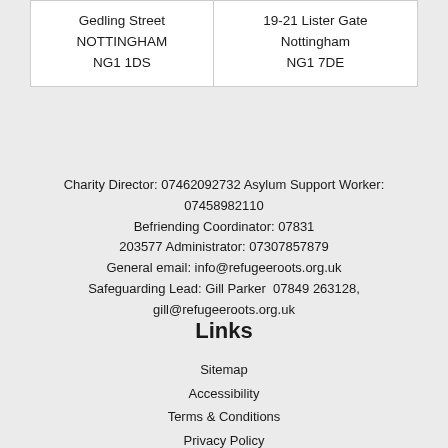| Gedling Street
NOTTINGHAM
NG1 1DS | 19-21 Lister Gate
Nottingham
NG1 7DE |
Charity Director: 07462092732 Asylum Support Worker: 07458982110 Befriending Coordinator: 07831 203577 Administrator: 07307857879 General email: info@refugeeroots.org.uk Safeguarding Lead: Gill Parker  07849 263128, gill@refugeeroots.org.uk
Links
Sitemap
Accessibility
Terms & Conditions
Privacy Policy
Volunteer Log
Safeguarding Policy
Claim Expenses